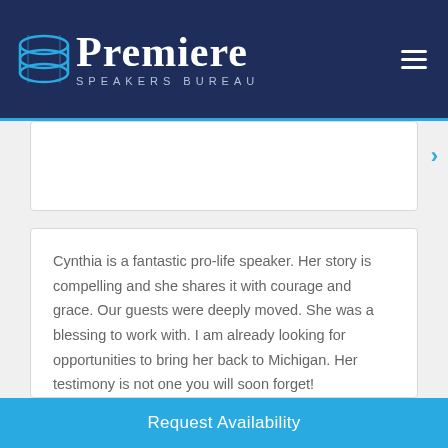[Figure (logo): Premiere Speakers Bureau logo: stylized stacked oval shapes in blue/teal on dark navy background, with 'Premiere' in large white serif font and 'SPEAKERS BUREAU' in small spaced caps below]
Cynthia is a fantastic pro-life speaker. Her story is compelling and she shares it with courage and grace. Our guests were deeply moved. She was a blessing to work with. I am already looking for opportunities to bring her back to Michigan. Her testimony is not one you will soon forget!
Barbara Rotary, Director of Planned Giving - Right To Light Michigan
Request Availability